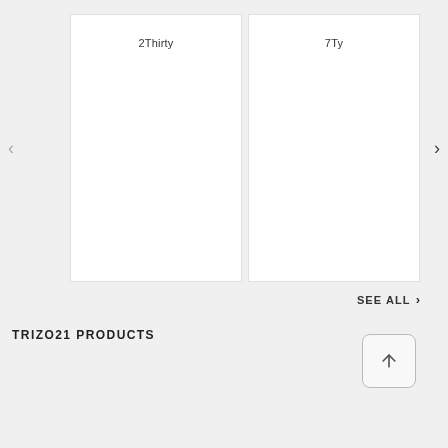[Figure (screenshot): Carousel with two product cards labeled '2Thirty' and '7Ty' on a light gray background, with left and right navigation arrows]
SEE ALL ›
TRIZO21 PRODUCTS
[Figure (other): Back to top button with upward arrow icon, rounded square style]